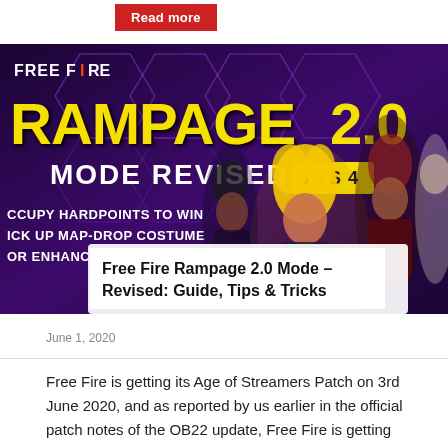Read more
[Figure (screenshot): Free Fire Rampage 2.0 Mode Revised 4 vs 4 promotional game banner with characters and text overlay showing game modes]
Free Fire Rampage 2.0 Mode – Revised: Guide, Tips & Tricks
June 1, 2020
Free Fire is getting its Age of Streamers Patch on 3rd June 2020, and as reported by us earlier in the official patch notes of the OB22 update, Free Fire is getting the revised version of Rampage Mode. The new